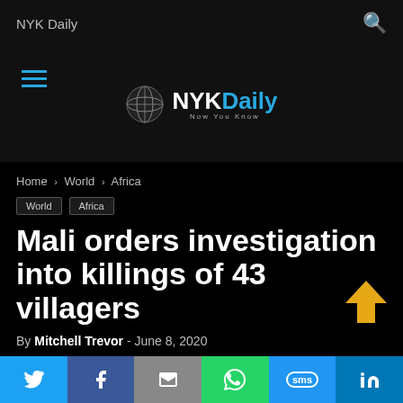NYK Daily
[Figure (logo): NYK Daily logo with globe icon and text 'NYKDaily Now You Know']
Home › World › Africa
World  Africa
Mali orders investigation into killings of 43 villagers
By Mitchell Trevor - June 8, 2020
Like 2
Twitter  Facebook  Email  WhatsApp  SMS  LinkedIn